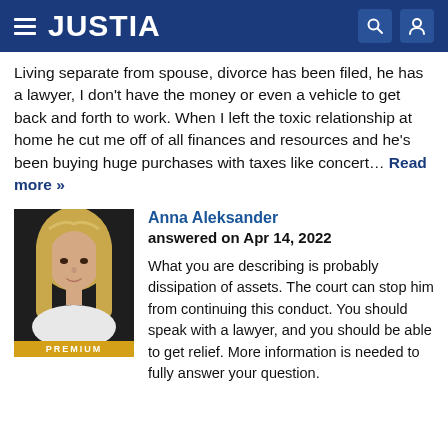JUSTIA
Living separate from spouse, divorce has been filed, he has a lawyer, I don't have the money or even a vehicle to get back and forth to work. When I left the toxic relationship at home he cut me off of all finances and resources and he's been buying huge purchases with taxes like concert… Read more »
[Figure (photo): Professional headshot of attorney Anna Aleksander, a woman with long blonde hair, dark background, with a gold PREMIUM bar at the bottom]
Anna Aleksander
answered on Apr 14, 2022

What you are describing is probably dissipation of assets. The court can stop him from continuing this conduct. You should speak with a lawyer, and you should be able to get relief. More information is needed to fully answer your question.